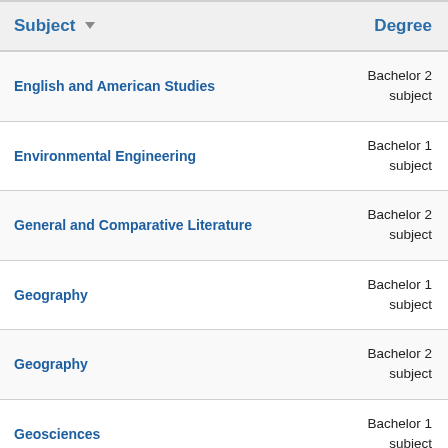| Subject | Degree |
| --- | --- |
| English and American Studies | Bachelor 2 subject |
| Environmental Engineering | Bachelor 1 subject |
| General and Comparative Literature | Bachelor 2 subject |
| Geography | Bachelor 1 subject |
| Geography | Bachelor 2 subject |
| Geosciences | Bachelor 1 subject |
| (partial) | Bachelor 2 |